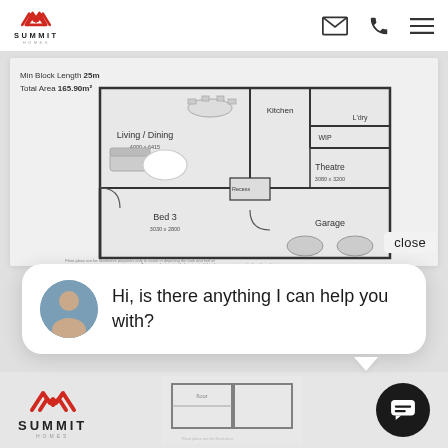Summit Homes navigation bar with logo, email, phone, and menu icons
[Figure (engineering-diagram): House floor plan showing Living/Dining (4000x6415), Kitchen, WIP, L'dry, Theatre (3080x3200), Bed 3 (3030x2800), Recess, Garage rooms. Min Block Length 25m, Total Area 165.90m².]
close
Hi, is there anything I can help you with?
[Figure (logo): Summit Homes logo at bottom left]
[Figure (infographic): Dark circular chat icon button at bottom right]